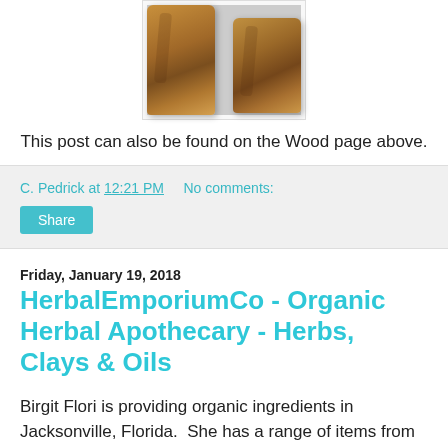[Figure (photo): Two pieces of wood/bark (possibly marshmallow root) photographed on a gray background, displayed in a bordered photo box]
This post can also be found on the Wood page above.
C. Pedrick at 12:21 PM   No comments:
Share
Friday, January 19, 2018
HerbalEmporiumCo - Organic Herbal Apothecary - Herbs, Clays & Oils
Birgit Flori is providing organic ingredients in Jacksonville, Florida.  She has a range of items from common to unusual for you to choose from.  This here is real powdered marshmellow root!  Check out the other ingredients by using